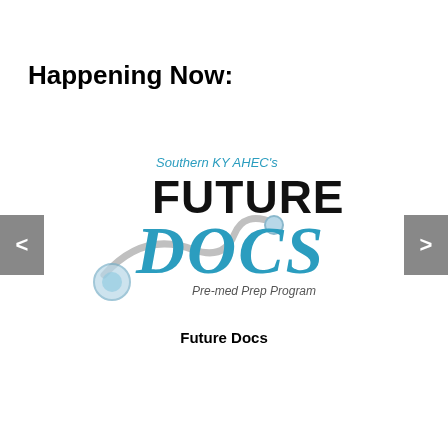Happening Now:
[Figure (logo): Southern KY AHEC's Future Docs Pre-med Prep Program logo with stethoscope graphic and stylized blue italic DOCS text]
Future Docs